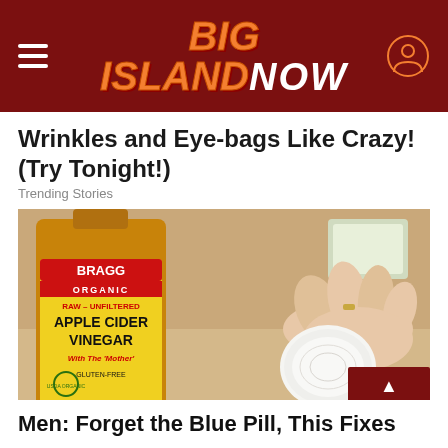BIG ISLAND NOW
Wrinkles and Eye-bags Like Crazy! (Try Tonight!)
Trending Stories
[Figure (photo): A bottle of Bragg Organic Raw-Unfiltered Apple Cider Vinegar with a hand holding a cotton pad next to it.]
Men: Forget the Blue Pill, This Fixes